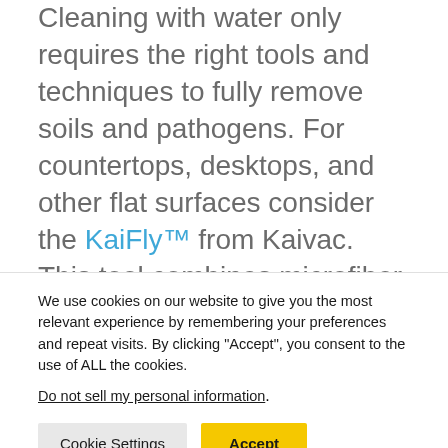Cleaning with water only requires the right tools and techniques to fully remove soils and pathogens. For countertops, desktops, and other flat surfaces consider the KaiFly™ from Kaivac. This tool combines microfiber with a squeegee to trap and remove soils and bio pollutants. In fact, tests conducted by an independent NELAP-
We use cookies on our website to give you the most relevant experience by remembering your preferences and repeat visits. By clicking "Accept", you consent to the use of ALL the cookies.
Do not sell my personal information.